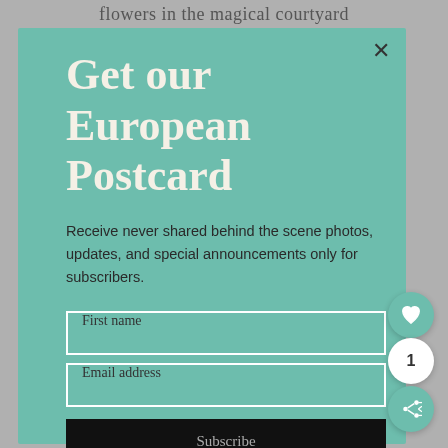flowers in the magical courtyard
Get our European Postcard
Receive never shared behind the scene photos, updates, and special announcements only for subscribers.
First name
Email address
Subscribe